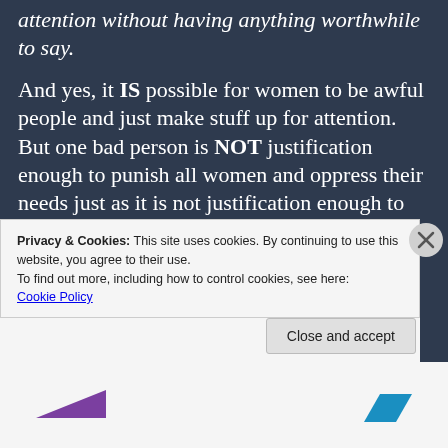attention without having anything worthwhile to say.
And yes, it IS possible for women to be awful people and just make stuff up for attention. But one bad person is NOT justification enough to punish all women and oppress their needs just as it is not justification enough to punish all of MANkind for the actions of Hitler or
Privacy & Cookies: This site uses cookies. By continuing to use this website, you agree to their use.
To find out more, including how to control cookies, see here: Cookie Policy
Close and accept